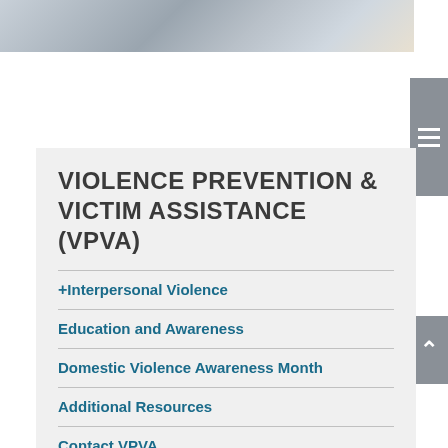[Figure (photo): Partial photo showing hands working on documents or a desk surface with tools]
VIOLENCE PREVENTION & VICTIM ASSISTANCE (VPVA)
+ Interpersonal Violence
Education and Awareness
Domestic Violence Awareness Month
Additional Resources
Contact VPVA